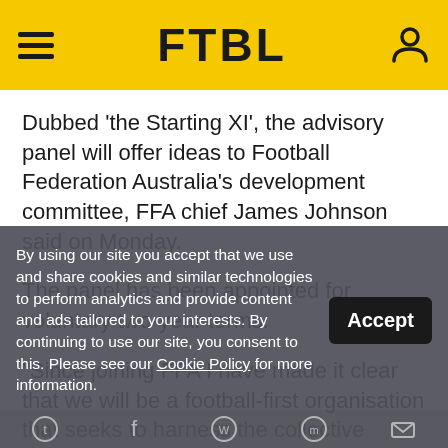FTBL
Dubbed 'the Starting XI', the advisory panel will offer ideas to Football Federation Australia's development committee, FFA chief James Johnson said on Monday.
The panel has been appointed for voluntary two-year terms.
"Since joining FFA I have made it clear that we will be a football-first organisation that seeks to harness the collective knowledge and experience that our most successful coaches, players, administrators, coaches, coaches, o... statements m... during
By using our site you accept that we use and share cookies and similar technologies to perform analytics and provide content and ads tailored to your interests. By continuing to use our site, you consent to this. Please see our Cookie Policy for more information.